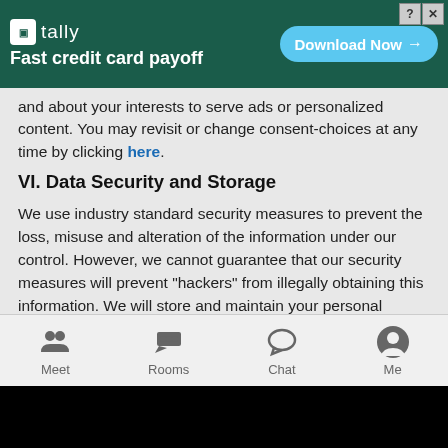[Figure (screenshot): Green advertisement banner for 'tally' app with text 'Fast credit card payoff' and a 'Download Now' button, with close/help buttons in top right corner]
and about your interests to serve ads or personalized content. You may revisit or change consent-choices at any time by clicking here.
VI. Data Security and Storage
We use industry standard security measures to prevent the loss, misuse and alteration of the information under our control. However, we cannot guarantee that our security measures will prevent "hackers" from illegally obtaining this information. We will store and maintain your personal information for as long as necessary (i) for the purposes for which it was collected, (ii) to meet our current and future legal obligations, including compliance with our records retention practices, and (iii) as permitted to meet our legitimate interests. Our Service is hosted in the United States and we maintain your information in the United States and elsewhere on the cloud. If you are outside the United States, you agree to have your data transferred to and processed in the United States and elsewhere.
[Figure (screenshot): Mobile app bottom navigation bar with four items: Meet, Rooms, Chat, Me]